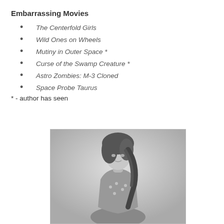Embarrassing Movies
The Centerfold Girls
Wild Ones on Wheels
Mutiny in Outer Space *
Curse of the Swamp Creature *
Astro Zombies: M-3 Cloned
Space Probe Taurus
* - author has seen
[Figure (photo): Black and white photograph of a woman with large bouffant hair wearing a polka dot top, posed leaning forward]